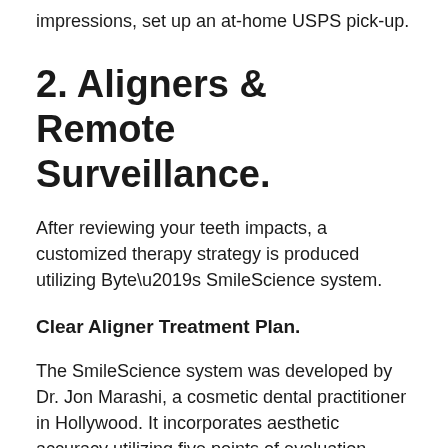impressions, set up an at-home USPS pick-up.
2. Aligners & Remote Surveillance.
After reviewing your teeth impacts, a customized therapy strategy is produced utilizing Byte’s SmileScience system.
Clear Aligner Treatment Plan.
The SmileScience system was developed by Dr. Jon Marashi, a cosmetic dental practitioner in Hollywood. It incorporates aesthetic accuracy utilizing five points of evaluation, which helps determine the most effective tooth positioning for your one-of-a